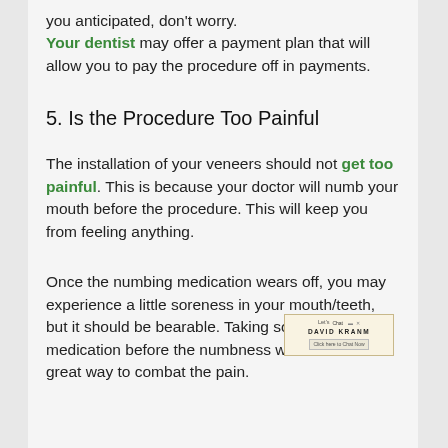you anticipated, don't worry. Your dentist may offer a payment plan that will allow you to pay the procedure off in payments.
5. Is the Procedure Too Painful
The installation of your veneers should not get too painful. This is because your doctor will numb your mouth before the procedure. This will keep you from feeling anything.
Once the numbing medication wears off, you may experience a little soreness in your mouth/teeth, but it should be bearable. Taking some pain medication before the numbness wears off is a great way to combat the pain.
[Figure (other): Small chat widget with 'Let's Chat' label and 'David Kranm' name, with a 'Click here to Chat Now' button]